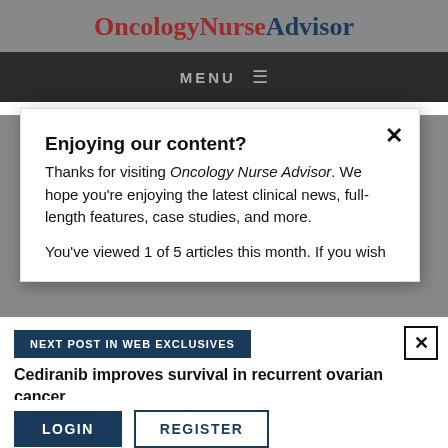OncologyNurseAdvisor
MENU
Search...
Enjoying our content?
Thanks for visiting Oncology Nurse Advisor. We hope you're enjoying the latest clinical news, full-length features, case studies, and more.
You've viewed 1 of 5 articles this month. If you wish
NEXT POST IN WEB EXCLUSIVES
Cediranib improves survival in recurrent ovarian cancer
LOGIN
REGISTER